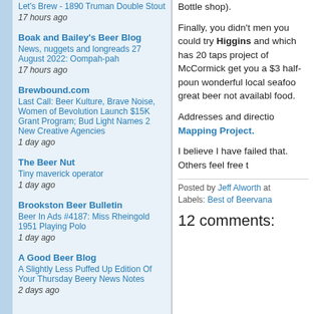Let's Brew - 1890 Truman Double Stout
17 hours ago
Boak and Bailey's Beer Blog
News, nuggets and longreads 27 August 2022: Oompah-pah
17 hours ago
Brewbound.com
Last Call: Beer Kulture, Brave Noise, Women of Bevolution Launch $15K Grant Program; Bud Light Names 2 New Creative Agencies
1 day ago
The Beer Nut
Tiny maverick operator
1 day ago
Brookston Beer Bulletin
Beer In Ads #4187: Miss Rheingold 1951 Playing Polo
1 day ago
A Good Beer Blog
A Slightly Less Puffed Up Edition Of Your Thursday Beery News Notes
2 days ago
Bottle shop).
Finally, you didn't mention that you could try Higgins and which has 20 taps project of McCormick get you a $3 half-poun wonderful local seafoo great beer not availabl food.
Addresses and directio Mapping Project.
I believe I have failed that. Others feel free t
Posted by Jeff Alworth at
Labels: Best of Beervana
12 comments: